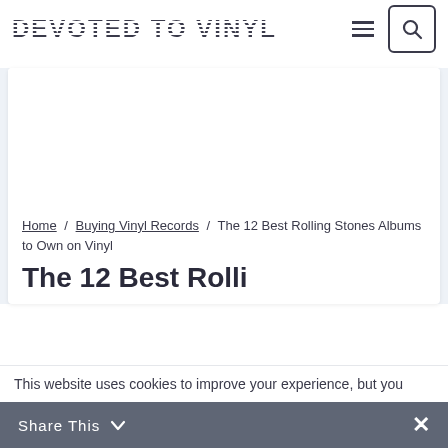DEVOTED TO VINYL
Home / Buying Vinyl Records / The 12 Best Rolling Stones Albums to Own on Vinyl
The 12 Best Rolli...
This website uses cookies to improve your experience, but you
Share This  ✕